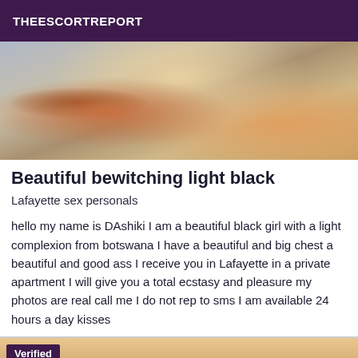THEESCORTREPORT
[Figure (photo): Close-up photo showing a hand with dark nail polish, blurred background with light tones]
Beautiful bewitching light black
Lafayette sex personals
hello my name is DAshiki I am a beautiful black girl with a light complexion from botswana I have a beautiful and big chest a beautiful and good ass I receive you in Lafayette in a private apartment I will give you a total ecstasy and pleasure my photos are real call me I do not rep to sms I am available 24 hours a day kisses
[Figure (photo): Photo showing a person, with a Verified badge overlay in purple, red accent shape visible]